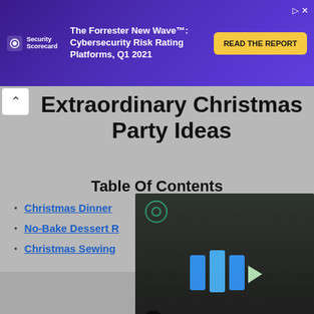[Figure (screenshot): Advertisement banner for SecurityScorecard - The Forrester New Wave: Cybersecurity Risk Rating Platforms, Q1 2021 with READ THE REPORT button]
Extraordinary Christmas Party Ideas
Table Of Contents
Christmas Dinner (link, partially obscured)
No-Bake Dessert R... (link, partially obscured)
Christmas Sewing... (link, partially obscured)
[Figure (screenshot): Video player overlay showing a kitchen scene with play button controls and mute icon]
Christmas Dinner Meals